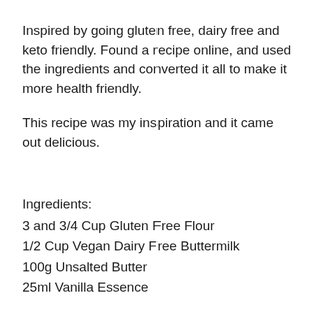Inspired by going gluten free, dairy free and keto friendly. Found a recipe online, and used the ingredients and converted it all to make it more health friendly.
This recipe was my inspiration and it came out delicious.
Ingredients:
3 and 3/4 Cup Gluten Free Flour
1/2 Cup Vegan Dairy Free Buttermilk
100g Unsalted Butter
25ml Vanilla Essence